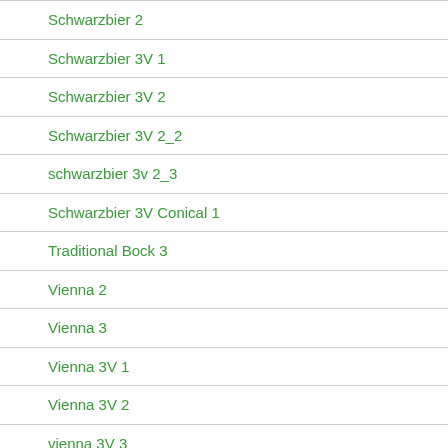Schwarzbier 2
Schwarzbier 3V 1
Schwarzbier 3V 2
Schwarzbier 3V 2_2
schwarzbier 3v 2_3
Schwarzbier 3V Conical 1
Traditional Bock 3
Vienna 2
Vienna 3
Vienna 3V 1
Vienna 3V 2
vienna 3V 3